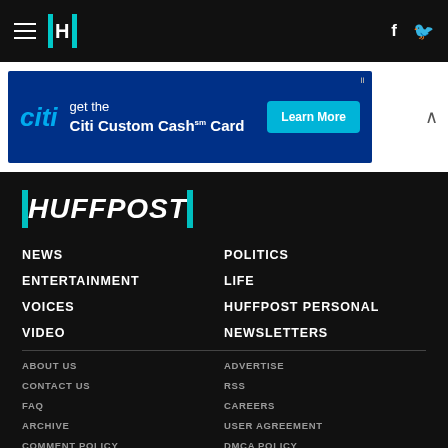HuffPost navigation bar with hamburger menu, logo, Facebook and Twitter icons
[Figure (screenshot): Citi Custom Cash Card advertisement banner with Learn More button]
HUFFPOST
NEWS
POLITICS
ENTERTAINMENT
LIFE
VOICES
HUFFPOST PERSONAL
VIDEO
NEWSLETTERS
ABOUT US
ADVERTISE
CONTACT US
RSS
FAQ
CAREERS
ARCHIVE
USER AGREEMENT
COMMENT POLICY
DMCA POLICY